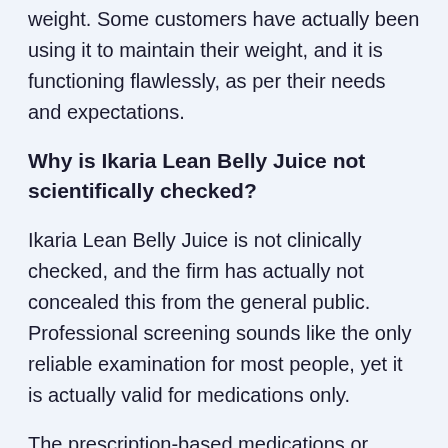weight. Some customers have actually been using it to maintain their weight, and it is functioning flawlessly, as per their needs and expectations.
Why is Ikaria Lean Belly Juice not scientifically checked?
Ikaria Lean Belly Juice is not clinically checked, and the firm has actually not concealed this from the general public. Professional screening sounds like the only reliable examination for most people, yet it is actually valid for medications only.
The prescription-based medications or supplements are evaluated via professional trials to approximate the level of adverse effects they could be offering. It is unusual for all natural